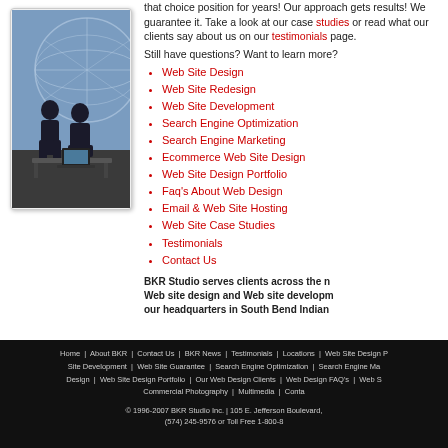[Figure (photo): Two people working at a computer with a globe structure in the background]
that choice position for years! Our approach gets results! We guarantee it. Take a look at our case studies or read what our clients say about us on our testimonials page.
Still have questions? Want to learn more?
Web Site Design
Web Site Redesign
Web Site Development
Search Engine Optimization
Search Engine Marketing
Ecommerce Web Site Design
Web Site Design Portfolio
Faq's About Web Design
Email & Web Site Hosting
Web Site Case Studies
Testimonials
Contact Us
BKR Studio serves clients across the nation with Web site design and Web site development from our headquarters in South Bend Indiana.
Home | About BKR | Contact Us | BKR News | Testimonials | Locations | Web Site Design P... | Site Development | Web Site Guarantee | Search Engine Optimization | Search Engine Ma... | Design | Web Site Design Portfolio | Our Web Design Clients | Web Design FAQ's | Web S... | Commercial Photography | Multimedia | Conta... © 1996-2007 BKR Studio Inc. | 105 E. Jefferson Boulevard, | (574) 245-9576 or Toll Free 1-800-8...